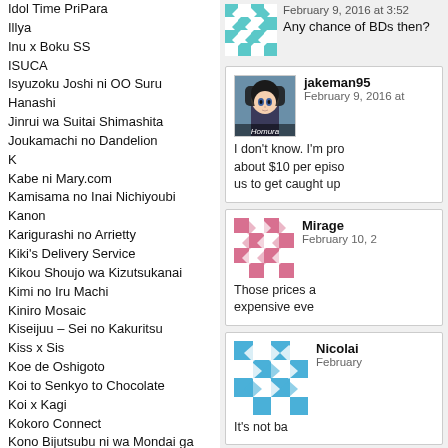Idol Time PriPara
Illya
Inu x Boku SS
ISUCA
Isyuzoku Joshi ni OO Suru Hanashi
Jinrui wa Suitai Shimashita
Joukamachi no Dandelion
K
Kabe ni Mary.com
Kamisama no Inai Nichiyoubi
Kanon
Karigurashi no Arrietty
Kiki's Delivery Service
Kikou Shoujo wa Kizutsukanai
Kimi no Iru Machi
Kiniro Mosaic
Kiseijuu – Sei no Kakuritsu
Kiss x Sis
Koe de Oshigoto
Koi to Senkyo to Chocolate
Koi x Kagi
Kokoro Connect
Kono Bijutsubu ni wa Mondai ga Aru!
KonoSuba
Kore wa Zombie Desu ka
Kotonoha no Niwa
Koutetsujou no Kabaneri
Kowarekake no Orgel
Kuusen Madoushi
Kyoukai no Kanata
Ladies versus Butlers!
Lucky Star
February 9, 2016 at 3:52
Any chance of BDs then?
jakeman95
February 9, 2016 at
I don't know. I'm pro about $10 per episo us to get caught up
Mirage
February 10, 2
Those prices a expensive eve
Nicolai
February
It's not ba
Fem